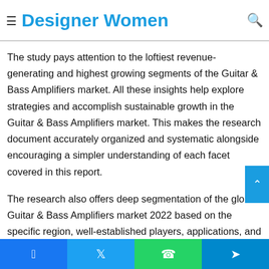≡ Designer Women 🔍
deep outlook on the implementation of the Guitar & Bass ... about the projected period
The study pays attention to the loftiest revenue-generating and highest growing segments of the Guitar & Bass Amplifiers market. All these insights help explore strategies and accomplish sustainable growth in the Guitar & Bass Amplifiers market. This makes the research document accurately organized and systematic alongside encouraging a simpler understanding of each facet covered in this report.
The research also offers deep segmentation of the global Guitar & Bass Amplifiers market 2022 based on the specific region, well-established players, applications, and product types. The global Guitar & Bass Amplifiers market report also
Facebook | Twitter | WhatsApp | Telegram